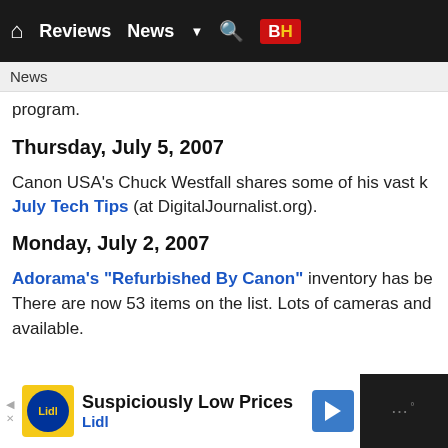Home | Reviews | News | Search | B&H
News
program.
Thursday, July 5, 2007
Canon USA's Chuck Westfall shares some of his vast knowledge in July Tech Tips (at DigitalJournalist.org).
Monday, July 2, 2007
Adorama's "Refurbished By Canon" inventory has been updated. There are now 53 items on the list. Lots of cameras and lenses available.
[Figure (screenshot): Lidl advertisement banner: Suspiciously Low Prices, Lidl]